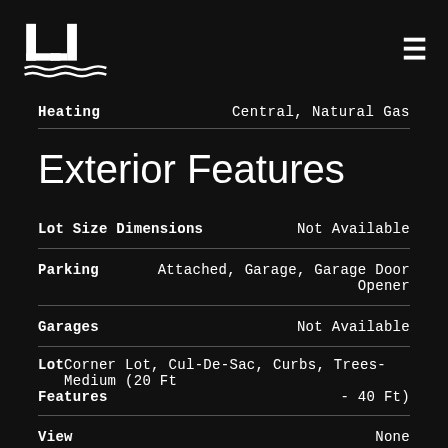LJ logo and hamburger menu
| Feature | Value |
| --- | --- |
| Heating | Central, Natural Gas |
| Lot Size Dimensions | Not Available |
| Parking | Attached, Garage, Garage Door Opener |
| Garages | Not Available |
| Lot Features | Corner Lot, Cul-De-Sac, Curbs, Trees-Medium (20 Ft - 40 Ft) |
| View | None |